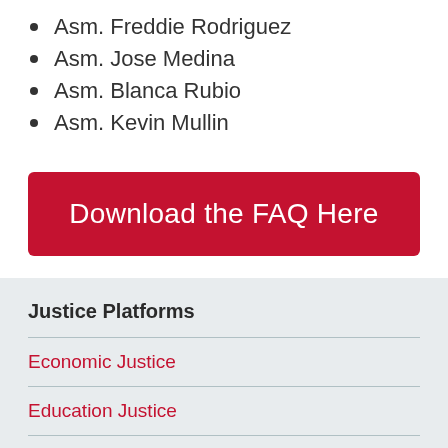Asm. Freddie Rodriguez
Asm. Jose Medina
Asm. Blanca Rubio
Asm. Kevin Mullin
Download the FAQ Here
Justice Platforms
Economic Justice
Education Justice
Environmental Justice
Gender Justice
Health Justice
Racial Justice